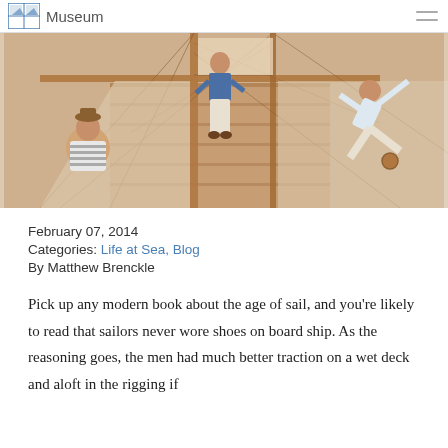Museum
[Figure (illustration): Historical watercolor illustration showing sailors on the deck and rigging of a sailing ship. One sailor in a striped shirt is visible at lower left, another in a blue top and white pants stands on deck, and a third figure is seen aloft in the rigging at right, depicted against wooden masts and rope rigging on a beige background.]
February 07, 2014
Categories: Life at Sea, Blog
By Matthew Brenckle
Pick up any modern book about the age of sail, and you're likely to read that sailors never wore shoes on board ship. As the reasoning goes, the men had much better traction on a wet deck and aloft in the rigging if